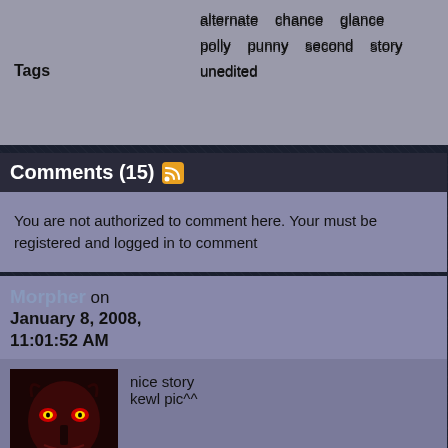alternate  chance  glance
polly  punny  second  story
unedited
Tags
Comments (15)
You are not authorized to comment here. Your must be registered and logged in to comment
Morpher on January 8, 2008, 11:01:52 AM
nice story kewl pic^^
PrincessFatCat on January 4, 2008, 6:05:05 PM
Cute! I like the